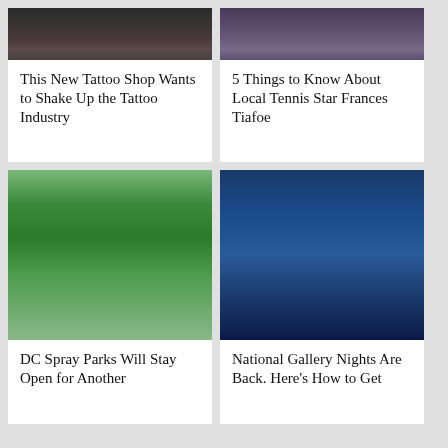[Figure (photo): Photo of a tattoo shop interior with people, dark tones]
This New Tattoo Shop Wants to Shake Up the Tattoo Industry
[Figure (photo): Photo related to tennis star Frances Tiafoe, crowd or stadium]
5 Things to Know About Local Tennis Star Frances Tiafoe
[Figure (photo): Children playing at a DC spray park with green water features]
DC Spray Parks Will Stay Open for Another
[Figure (photo): National Gallery of Art building lit up at night with crowd gathered outside]
National Gallery Nights Are Back. Here's How to Get